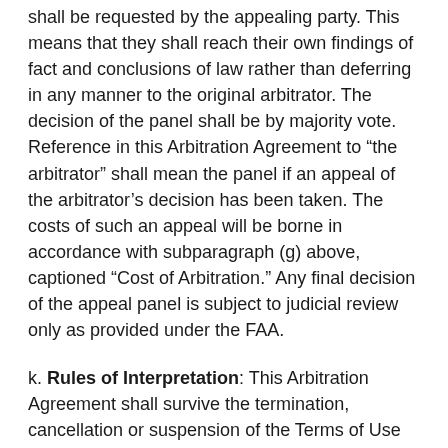shall be requested by the appealing party. This means that they shall reach their own findings of fact and conclusions of law rather than deferring in any manner to the original arbitrator. The decision of the panel shall be by majority vote. Reference in this Arbitration Agreement to “the arbitrator” shall mean the panel if an appeal of the arbitrator’s decision has been taken. The costs of such an appeal will be borne in accordance with subparagraph (g) above, captioned “Cost of Arbitration.” Any final decision of the appeal panel is subject to judicial review only as provided under the FAA.
k. Rules of Interpretation: This Arbitration Agreement shall survive the termination, cancellation or suspension of the Terms of Use or Privacy Policy, any legal proceeding, and any bankruptcy by you, to the extent consistent with applicable bankruptcy law. In